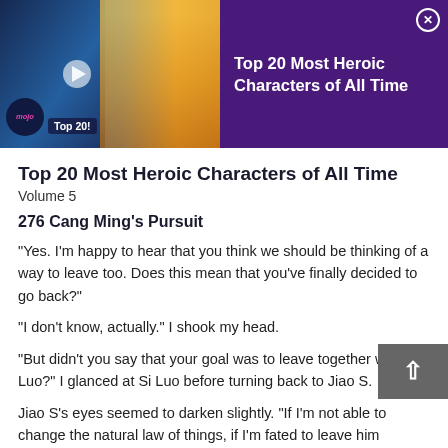[Figure (screenshot): WatchMojo Top 20 Most Heroic Characters of All Time advertisement banner with purple background, showing Captain America and an anime character (Aang from Avatar), with mojo logo and Top 20! label]
Top 20 Most Heroic Characters of All Time
Volume 5
276 Cang Ming’s Pursuit
“Yes. I’m happy to hear that you think we should be thinking of a way to leave too. Does this mean that you’ve finally decided to go back?”
“I don’t know, actually.” I shook my head.
“But didn’t you say that your goal was to leave together with Si Luo?” I glanced at Si Luo before turning back to Jiao S.
Jiao S’s eyes seemed to darken slightly. “If I’m not able to change the natural law of things, if I’m fated to leave him someday, then I’ll not force it. I’ve realized that Si Luo loves this